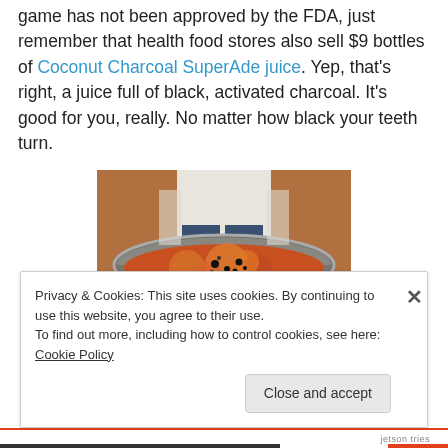game has not been approved by the FDA, just remember that health food stores also sell $9 bottles of Coconut Charcoal SuperAde juice. Yep, that's right, a juice full of black, activated charcoal. It's good for you, really. No matter how black your teeth turn.
[Figure (photo): Photo of a large metal pot or cauldron containing a reddish-orange mixture with black seeds or spices, viewed from above. A person in a white shirt and jeans stands behind it.]
Privacy & Cookies: This site uses cookies. By continuing to use this website, you agree to their use.
To find out more, including how to control cookies, see here: Cookie Policy